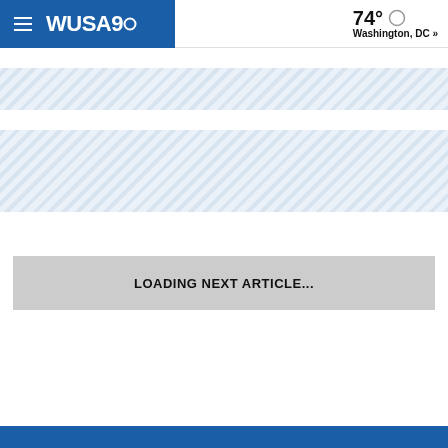WUSA9 | 74° Washington, DC »
[Figure (other): Diagonal blue stripe placeholder band 1]
[Figure (other): Diagonal blue stripe placeholder band 2]
LOADING NEXT ARTICLE...